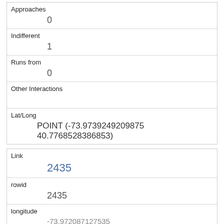| Approaches | 0 |
| Indifferent | 1 |
| Runs from | 0 |
| Other Interactions |  |
| Lat/Long | POINT (-73.9739249209875 40.7768528386853) |
| Link | 2435 |
| rowid | 2435 |
| longitude | -73.972087127535 |
| latitude | 40.776237268628 |
| Unique Squirrel ID |  |